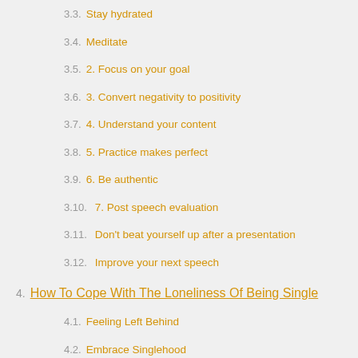3.3. Stay hydrated
3.4. Meditate
3.5. 2. Focus on your goal
3.6. 3. Convert negativity to positivity
3.7. 4. Understand your content
3.8. 5. Practice makes perfect
3.9. 6. Be authentic
3.10. 7. Post speech evaluation
3.11. Don't beat yourself up after a presentation
3.12. Improve your next speech
4. How To Cope With The Loneliness Of Being Single
4.1. Feeling Left Behind
4.2. Embrace Singlehood
4.3. But how do you live the single life, happily, if you are not actively choosing to be single?